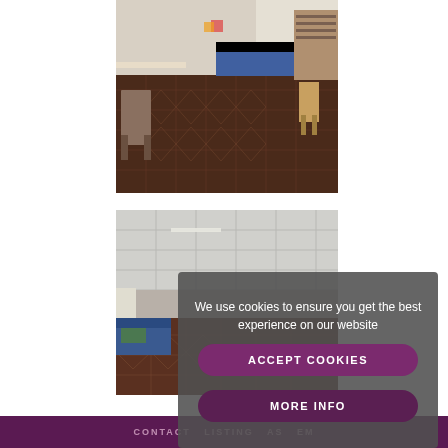[Figure (photo): Interior room photo showing patterned tile floor, wooden chairs on left, blue sofa in background, wooden shelving units on right side]
[Figure (photo): Interior room photo with suspended ceiling tiles, blue sofa visible on left lower portion, patterned tile floor]
We use cookies to ensure you get the best experience on our website
ACCEPT COOKIES
MORE INFO
CONTACT LISTING AS EM